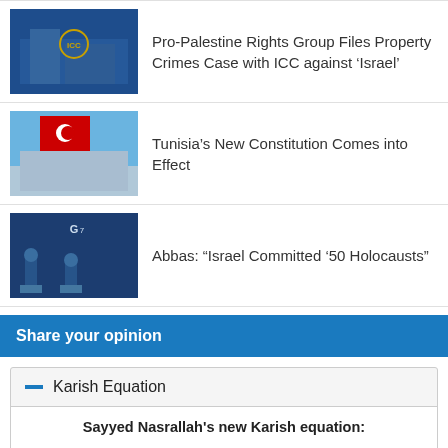[Figure (photo): ICC building exterior with logo]
Pro-Palestine Rights Group Files Property Crimes Case with ICC against ‘Israel’
[Figure (photo): Tunisian flag waving in front of a building]
Tunisia’s New Constitution Comes into Effect
[Figure (photo): Abbas and another person at G7 podium]
Abbas: “Israel Committed ’50 Holocausts”
Share your opinion
Karish Equation
Sayyed Nasrallah's new Karish equation:
A deterrence against possible Israeli aggression
A confrontational escalation
Vote